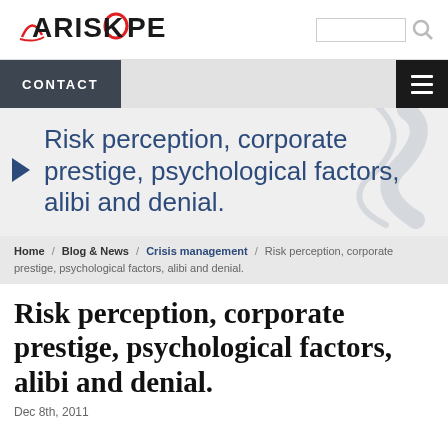[Figure (logo): ARISKOPE logo with red stylized lines and black text]
CONTACT  [hamburger menu]
Risk perception, corporate prestige, psychological factors, alibi and denial.
Home / Blog & News / Crisis management / Risk perception, corporate prestige, psychological factors, alibi and denial.
Risk perception, corporate prestige, psychological factors, alibi and denial.
Dec 8th, 2011